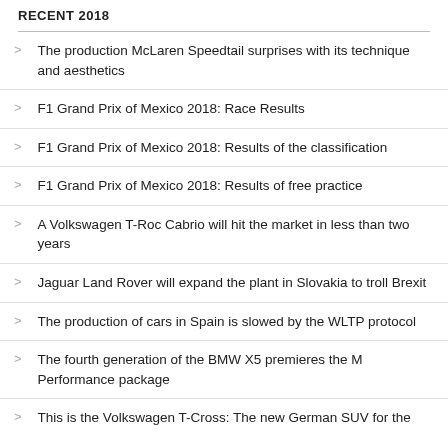RECENT 2018
The production McLaren Speedtail surprises with its technique and aesthetics
F1 Grand Prix of Mexico 2018: Race Results
F1 Grand Prix of Mexico 2018: Results of the classification
F1 Grand Prix of Mexico 2018: Results of free practice
A Volkswagen T-Roc Cabrio will hit the market in less than two years
Jaguar Land Rover will expand the plant in Slovakia to troll Brexit
The production of cars in Spain is slowed by the WLTP protocol
The fourth generation of the BMW X5 premieres the M Performance package
This is the Volkswagen T-Cross: The new German SUV for the